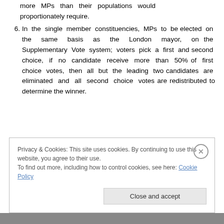more MPs than their populations would proportionately require.
6. In the single member constituencies, MPs to be elected on the same basis as the London mayor, on the Supplementary Vote system; voters pick a first and second choice, if no candidate receive more than 50% of first choice votes, then all but the leading two candidates are eliminated and all second choice votes are redistributed to determine the winner.
Privacy & Cookies: This site uses cookies. By continuing to use this website, you agree to their use.
To find out more, including how to control cookies, see here: Cookie Policy